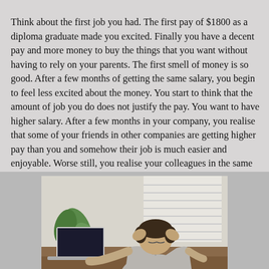Think about the first job you had. The first pay of $1800 as a diploma graduate made you excited. Finally you have a decent pay and more money to buy the things that you want without having to rely on your parents. The first smell of money is so good. After a few months of getting the same salary, you begin to feel less excited about the money. You start to think that the amount of job you do does not justify the pay. You want to have higher salary. After a few months in your company, you realise that some of your friends in other companies are getting higher pay than you and somehow their job is much easier and enjoyable. Worse still, you realise your colleagues in the same company have higher salary than you also. You start to feel really dissatisfied with the salary that you have.
[Figure (photo): A man in a light grey shirt sitting at a desk with a laptop, head bowed down and hands gripping his head, appearing stressed or frustrated. A plant is visible in the background.]